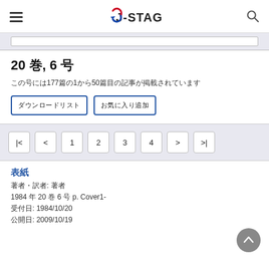J-STAGE
20 巻, 6 号
この号には177篇の1から50篇目の記事が掲載されています
ダウンロードリスト | お気に入り追加
ページネーション: |< < 1 2 3 4 > >|
表紙
著者・訳者: 著者
1984 年 20 巻 6 号 p. Cover1-
受付日: 1984/10/20
公開日: 2009/10/19